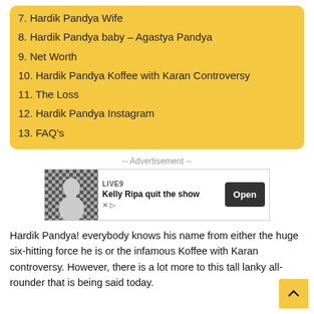7. Hardik Pandya Wife
8. Hardik Pandya baby – Agastya Pandya
9. Net Worth
10. Hardik Pandya Koffee with Karan Controversy
11. The Loss
12. Hardik Pandya Instagram
13. FAQ's
-- Advertisement --
[Figure (screenshot): Advertisement banner: LIVE9 – Kelly Ripa quit the show – Open button]
Hardik Pandya! everybody knows his name from either the huge six-hitting force he is or the infamous Koffee with Karan controversy. However, there is a lot more to this tall lanky all-rounder that is being said today.